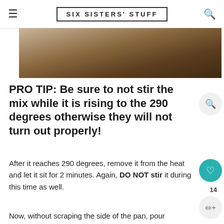SIX SISTERS' STUFF
[Figure (photo): Close-up photo of a mixing bowl with batter or candy mixture, dark brown tones]
PRO TIP: Be sure to not stir the mix while it is rising to the 290 degrees otherwise they will not turn out properly!
After it reaches 290 degrees, remove it from the heat and let it sit for 2 minutes. Again, DO NOT stir it during this time as well.
Now, without scraping the side of the pan, pour